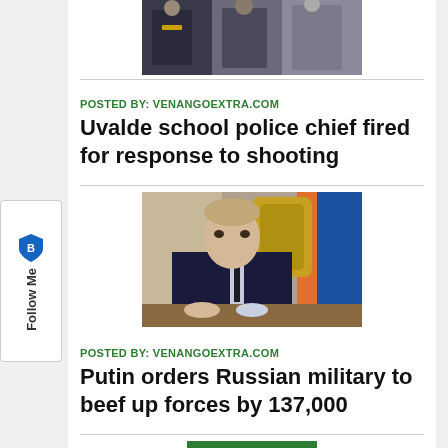[Figure (photo): Partial view of police officers in uniform, cropped at top]
POSTED BY: VENANGOEXTRA.COM
Uvalde school police chief fired for response to shooting
[Figure (photo): Vladimir Putin sitting at a table in a dark suit, with ornate chair and flags in background]
POSTED BY: VENANGOEXTRA.COM
Putin orders Russian military to beef up forces by 137,000
[Figure (photo): Partial green image visible at bottom of page]